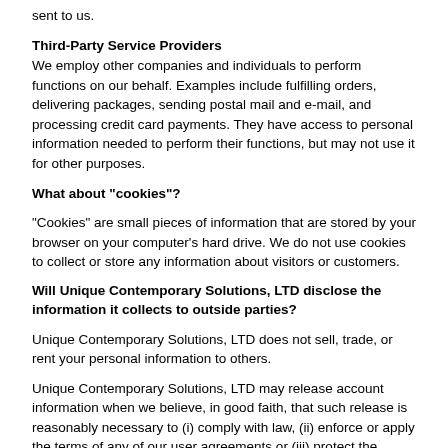sent to us.
Third-Party Service Providers
We employ other companies and individuals to perform functions on our behalf. Examples include fulfilling orders, delivering packages, sending postal mail and e-mail, and processing credit card payments. They have access to personal information needed to perform their functions, but may not use it for other purposes.
What about "cookies"?
"Cookies" are small pieces of information that are stored by your browser on your computer's hard drive. We do not use cookies to collect or store any information about visitors or customers.
Will Unique Contemporary Solutions, LTD disclose the information it collects to outside parties?
Unique Contemporary Solutions, LTD does not sell, trade, or rent your personal information to others.
Unique Contemporary Solutions, LTD may release account information when we believe, in good faith, that such release is reasonably necessary to (i) comply with law, (ii) enforce or apply the terms of any of our user agreements or (iii) protect the rights, property or safety of Unique Contemporary Solutions, LTD, our users, or others.